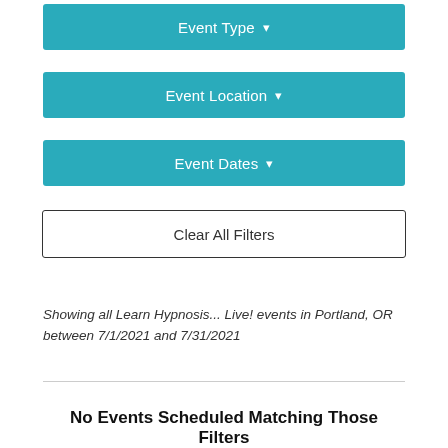[Figure (screenshot): Teal dropdown button labeled 'Event Type' with a downward arrow]
[Figure (screenshot): Teal dropdown button labeled 'Event Location' with a downward arrow]
[Figure (screenshot): Teal dropdown button labeled 'Event Dates' with a downward arrow]
[Figure (screenshot): White button with black border labeled 'Clear All Filters']
Showing all Learn Hypnosis... Live! events in Portland, OR between 7/1/2021 and 7/31/2021
No Events Scheduled Matching Those Filters